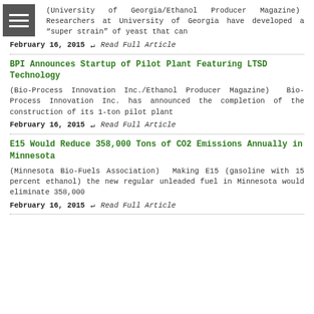(University of Georgia/Ethanol Producer Magazine)  Researchers at University of Georgia have developed a "super strain" of yeast that can
February 16, 2015   ↩ Read Full Article
BPI Announces Startup of Pilot Plant Featuring LTSD Technology
(Bio-Process Innovation Inc./Ethanol Producer Magazine)  Bio-Process Innovation Inc. has announced the completion of the construction of its 1-ton pilot plant
February 16, 2015   ↩ Read Full Article
E15 Would Reduce 358,000 Tons of CO2 Emissions Annually in Minnesota
(Minnesota Bio-Fuels Association)  Making E15 (gasoline with 15 percent ethanol) the new regular unleaded fuel in Minnesota would eliminate 358,000
February 16, 2015   ↩ Read Full Article